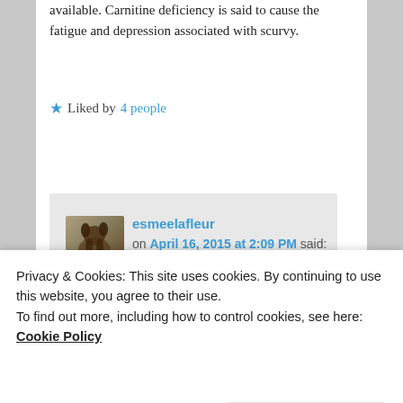available. Carnitine deficiency is said to cause the fatigue and depression associated with scurvy.
★ Liked by 4 people
Reply ↓
esmeelafleur on April 16, 2015 at 2:09 PM said:
Thanks, George! Awesome addition.
★ Liked by 1 person
Privacy & Cookies: This site uses cookies. By continuing to use this website, you agree to their use.
To find out more, including how to control cookies, see here: Cookie Policy
Close and accept